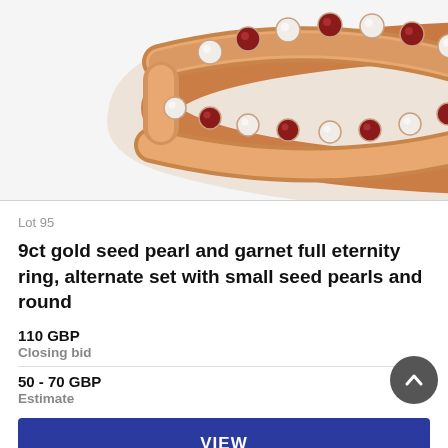[Figure (photo): Close-up photograph of a 9ct rose gold eternity ring set alternately with small white seed pearls and round red garnets, photographed against a white background.]
Lot 95
9ct gold seed pearl and garnet full eternity ring, alternate set with small seed pearls and round
110 GBP
Closing bid
50 - 70 GBP
Estimate
VIEW
Lot closed
Lot location: Aylsham, Norwich